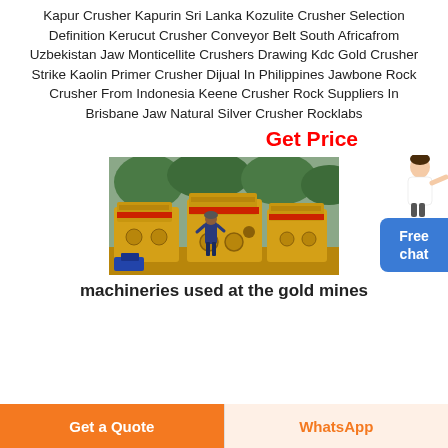Kapur Crusher Kapurin Sri Lanka Kozulite Crusher Selection Definition Kerucut Crusher Conveyor Belt South Africafrom Uzbekistan Jaw Monticellite Crushers Drawing Kdc Gold Crusher Strike Kaolin Primer Crusher Dijual In Philippines Jawbone Rock Crusher From Indonesia Keene Crusher Rock Suppliers In Brisbane Jaw Natural Silver Crusher Rocklabs
Get Price
[Figure (photo): Yellow industrial rock crusher machines with a person standing in front, outdoors]
machineries used at the gold mines
Get a Quote
WhatsApp